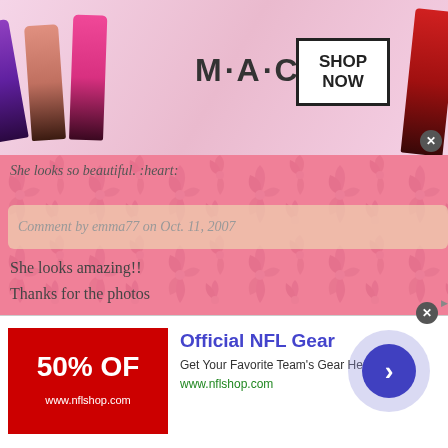[Figure (screenshot): MAC cosmetics advertisement banner with lipsticks and SHOP NOW button]
She looks so beautiful. :heart:
Comment by emma77 on Oct. 11, 2007
She looks amazing!!
Thanks for the photos
Comment by lea on Oct. 11, 2007
she looks sooooco beautiful
Comment by Belle on Oct. 11, 2007
She looks stunning :heart: !
[Figure (screenshot): Official NFL Gear advertisement with 50% off red banner, arrow button, www.nflshop.com]